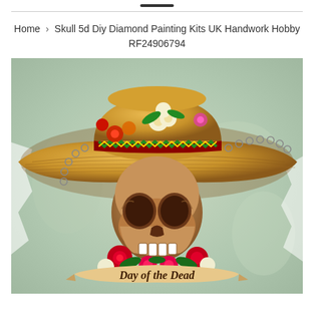Home › Skull 5d Diy Diamond Painting Kits UK Handwork Hobby RF24906794
[Figure (illustration): Day of the Dead illustration: a human skull wearing a large colorful Mexican sombrero decorated with flowers (red, white, and orange flowers), red/green/gold zigzag band. Below the skull are red roses and other flowers, with a banner reading 'Day of the Dead' in stylized script. Watercolor-style background in light green/teal.]